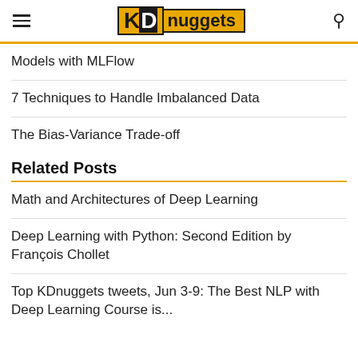KDnuggets
Models with MLFlow
7 Techniques to Handle Imbalanced Data
The Bias-Variance Trade-off
Related Posts
Math and Architectures of Deep Learning
Deep Learning with Python: Second Edition by François Chollet
Top KDnuggets tweets, Jun 3-9: The Best NLP with Deep Learning Course is...